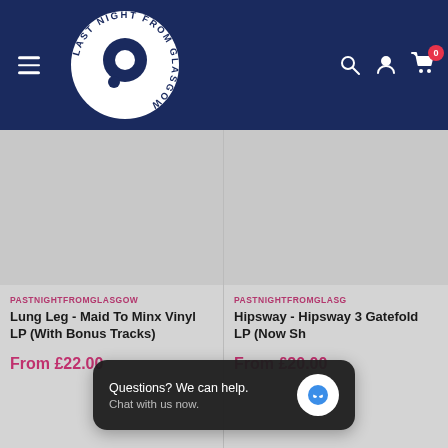[Figure (logo): Last Night From Glasgow circular logo with white background and dark navy text on dark navy header]
[Figure (photo): Product image placeholder for Lung Leg - Maid To Minx Vinyl LP]
PASTNIGHTFROMGLASGOW
Lung Leg - Maid To Minx Vinyl LP (With Bonus Tracks)
From £22.00
[Figure (photo): Product image placeholder for Hipsway Gatefold LP]
PASTNIGHTFROMGLASGO
Hipsway - Hipsway 3 Gatefold LP (Now Sh
From £20.00
Questions? We can help. Chat with us now.